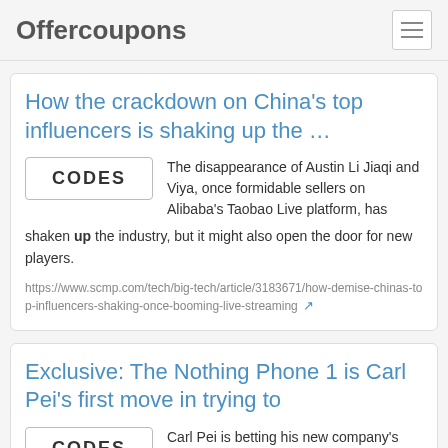Offercoupons
How the crackdown on China's top influencers is shaking up the …
The disappearance of Austin Li Jiaqi and Viya, once formidable sellers on Alibaba's Taobao Live platform, has shaken up the industry, but it might also open the door for new players.
https://www.scmp.com/tech/big-tech/article/3183671/how-demise-chinas-top-influencers-shaking-once-booming-live-streaming
Exclusive: The Nothing Phone 1 is Carl Pei's first move in trying to
Carl Pei is betting his new company's